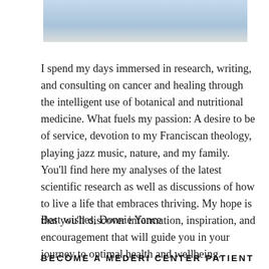[Figure (photo): Partial photo of a person wearing a light blue shirt/jacket, cropped at the top of the page]
I spend my days immersed in research, writing, and consulting on cancer and healing through the intelligent use of botanical and nutritional medicine. What fuels my passion: A desire to be of service, devotion to my Franciscan theology, playing jazz music, nature, and my family. You'll find here my analyses of the latest scientific research as well as discussions of how to live a life that embraces thriving. My hope is that you'll discover information, inspiration, and encouragement that will guide you in your journey to optimal health and wellbeing.
Best wishes, Donnie Yance
BECOME A MEDERI CENTER PATIENT